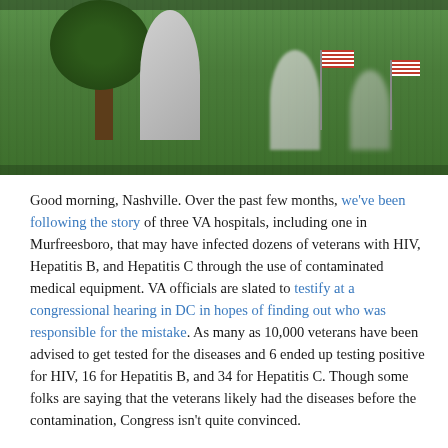[Figure (photo): Cemetery photo with white headstones and American flags planted in green grass, blurred background with trees]
Good morning, Nashville. Over the past few months, we've been following the story of three VA hospitals, including one in Murfreesboro, that may have infected dozens of veterans with HIV, Hepatitis B, and Hepatitis C through the use of contaminated medical equipment. VA officials are slated to testify at a congressional hearing in DC in hopes of finding out who was responsible for the mistake. As many as 10,000 veterans have been advised to get tested for the diseases and 6 ended up testing positive for HIV, 16 for Hepatitis B, and 34 for Hepatitis C. Though some folks are saying that the veterans likely had the diseases before the contamination, Congress isn't quite convinced.